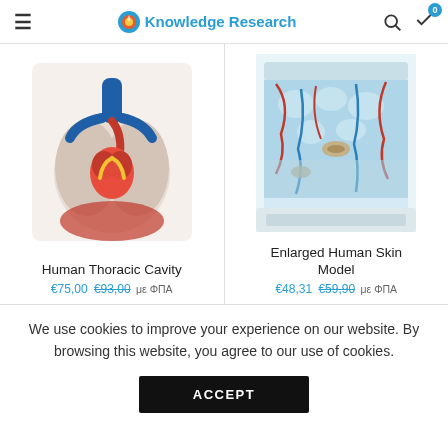Knowledge Research
[Figure (photo): Human Thoracic Cavity anatomical model showing lungs, heart, and major vessels in red and blue]
Human Thoracic Cavity
€75,00 €93,00 με ΦΠΑ
[Figure (photo): Enlarged Human Skin Model cross-section showing layers of skin with nerve endings, hair follicles, and blood vessels]
Enlarged Human Skin Model
€48,31 €59,90 με ΦΠΑ
We use cookies to improve your experience on our website. By browsing this website, you agree to our use of cookies.
ACCEPT